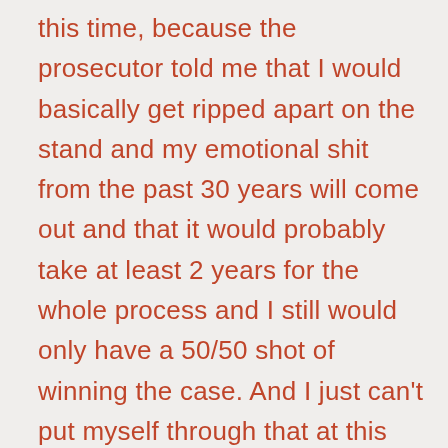this time, because the prosecutor told me that I would basically get ripped apart on the stand and my emotional shit from the past 30 years will come out and that it would probably take at least 2 years for the whole process and I still would only have a 50/50 shot of winning the case. And I just can't put myself through that at this point in my life. Because I have just begun to start to rebuild